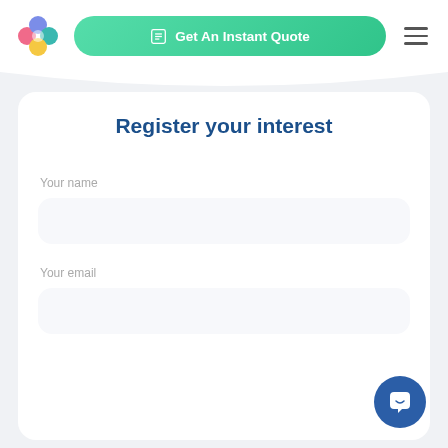[Figure (logo): Colorful flower/cross shaped logo with pink, blue/teal, and yellow circles]
Get An Instant Quote
[Figure (illustration): Three horizontal hamburger menu lines icon]
Register your interest
Your name
Your email
[Figure (illustration): Blue circular chat/support button with smiley speech bubble icon]